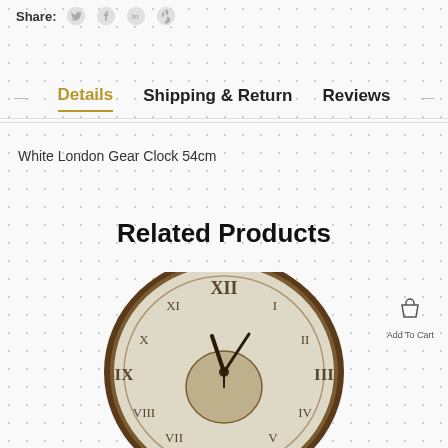Share:
Details | Shipping & Return | Reviews
White London Gear Clock 54cm
Related Products
[Figure (photo): Vintage white clock face with Roman numerals and dark metal hands, circular with ornate detail]
Add To Cart